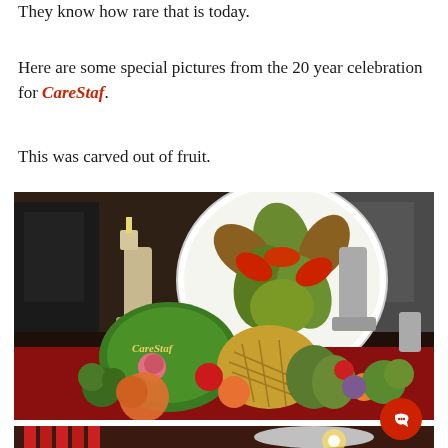They know how rare that is today.
Here are some special pictures from the 20 year celebration for CareStaf.
This was carved out of fruit.
[Figure (photo): A decorative fruit and vegetable carving display on a table covered with a red cloth. A large watermelon carved with the word 'CareStaf' and floral designs is prominent, surrounded by carved melons, artichokes, broccoli, flowers, and other produce. Behind the display is a large circular decorative platter with leaf and floral carvings in green and red, flanked by two candle holders.]
[Figure (photo): Partial view of a second photo showing red candles and metallic star-shaped balloons with a bright light.]